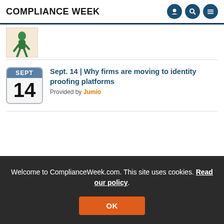COMPLIANCE WEEK
[Figure (illustration): Partial view of an illustrated character (green figure walking) on a beige/cream background]
Sept. 14 | Why firms are moving to identity proofing platforms
Provided by Jumio
Welcome to ComplianceWeek.com. This site uses cookies. Read our policy.
[Figure (photo): Bottom portion of page showing a laptop and orange/blue accents, partially obscured by cookie banner]